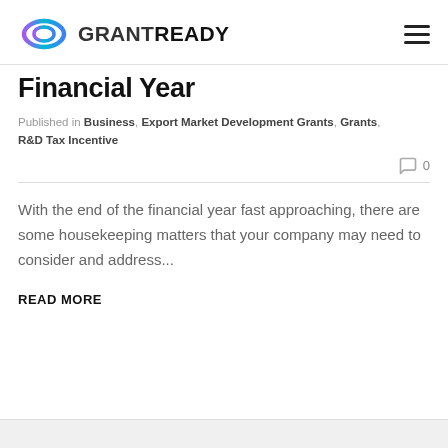GRANTREADY
Financial Year
Published in Business, Export Market Development Grants, Grants, R&D Tax Incentive
0
With the end of the financial year fast approaching, there are some housekeeping matters that your company may need to consider and address...
READ MORE